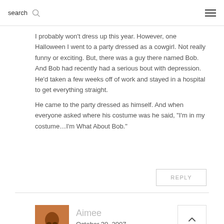search ☰
I probably won't dress up this year. However, one Halloween I went to a party dressed as a cowgirl. Not really funny or exciting. But, there was a guy there named Bob. And Bob had recently had a serious bout with depression. He'd taken a few weeks off of work and stayed in a hospital to get everything straight.
He came to the party dressed as himself. And when everyone asked where his costume was he said, "I'm in my costume…I'm What About Bob."
REPLY
Aimee
October 30, 2007